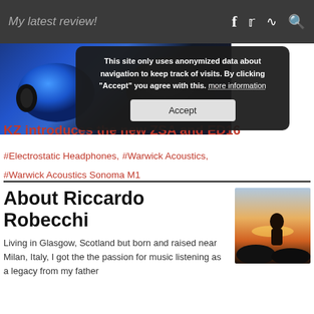My latest review!
[Figure (photo): Blue in-ear monitors (earphones) with black and red accents on dark background]
[Figure (infographic): Cookie consent overlay: 'This site only uses anonymized data about navigation to keep track of visits. By clicking "Accept" you agree with this. more information' with an Accept button]
KZ introduces the new ZSA and ED16
#Electrostatic Headphones, #Warwick Acoustics, #Warwick Acoustics Sonoma M1
About Riccardo Robecchi
[Figure (photo): Silhouette of a person sitting on rocks watching a sunset over water]
Living in Glasgow, Scotland but born and raised near Milan, Italy, I got the the passion for music listening as a legacy from my father